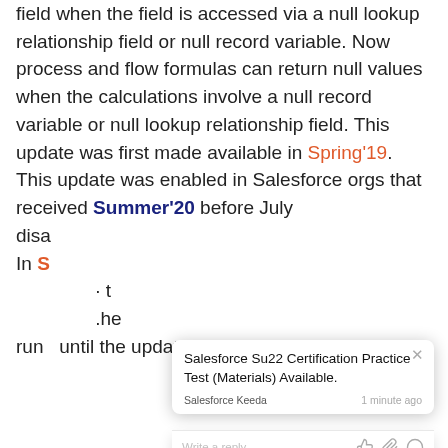field when the field is accessed via a null lookup relationship field or null record variable. Now process and flow formulas can return null values when the calculations involve a null record variable or null lookup relationship field. This update was first made available in Spring'19. This update was enabled in Salesforce orgs that received Summer'20 before July disa In S t he run until the update is enforced in Spring'22
[Figure (screenshot): Tooltip notification popup showing 'Salesforce Su22 Certification Practice Test (Materials) Available.' posted by 'Salesforce Keeda' 1 minute ago, with a reply input bar below containing thumbs up, paperclip, and emoji icons.]
Salesforce Mobile App Enhancements
[Figure (screenshot): Social share icons row: WhatsApp (green), Email (red), Telegram (blue), and a chat bubble icon (blue) with badge '1'.]
Salesforce performs automated and manual testing of the